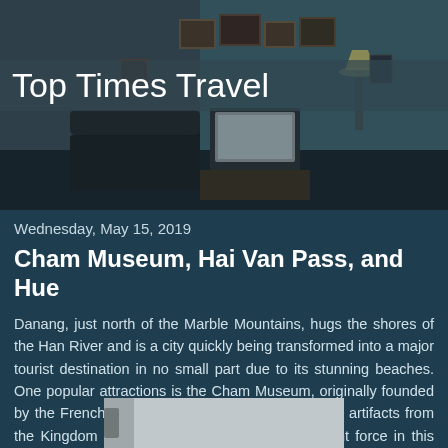[Figure (photo): Dark atmospheric room interior with vintage furniture, armchair, old television, picture frames on wall, and dim lamp lighting]
Top Times Travel
Wednesday, May 15, 2019
Cham Museum, Hai Van Pass, and Hue
Danang, just north of the Marble Mountains, hugs the shores of the Han River and is a city quickly being transformed into a major tourist destination in no small part due to its stunning beaches. One popular attractions is the Cham Museum, originally founded by the French in 1919. On display are a variety of artifacts from the Kingdom of Champa, which was the dominant force in this region of Vietnam for over 1,000 years. The influence of Indian culture is apparent.
[Figure (photo): Partial view of a museum interior or artifact display]